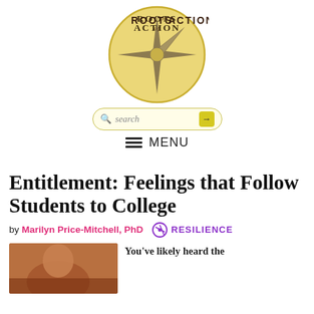[Figure (logo): Roots of Action compass logo — gold circular badge with star compass rose and text 'ROOTS of ACTION']
search
MENU
Entitlement: Feelings that Follow Students to College
by Marilyn Price-Mitchell, PhD   RESILIENCE
[Figure (photo): Photo of a person, cropped, lower left of page]
You've likely heard the